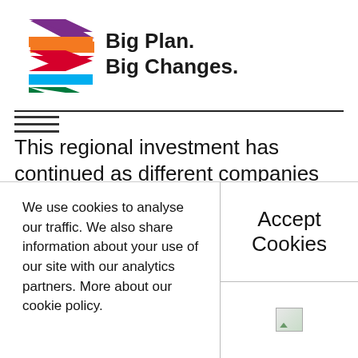[Figure (logo): National Rail logo with chevron arrows in purple, orange, red, blue, and green colors, alongside text 'Big Plan. Big Changes.']
This regional investment has continued as different companies have competed to run these services, with Anglia Railways (part of GB Railways Group) running services until
We use cookies to analyse our traffic. We also share information about your use of our site with our analytics partners. More about our cookie policy.
Accept Cookies